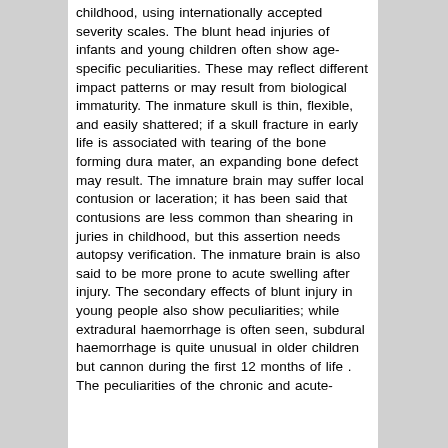childhood, using internationally accepted severity scales. The blunt head injuries of infants and young children often show age-specific peculiarities. These may reflect different impact patterns or may result from biological immaturity. The inmature skull is thin, flexible, and easily shattered; if a skull fracture in early life is associated with tearing of the bone forming dura mater, an expanding bone defect may result. The imnature brain may suffer local contusion or laceration; it has been said that contusions are less common than shearing in juries in childhood, but this assertion needs autopsy verification. The inmature brain is also said to be more prone to acute swelling after injury. The secondary effects of blunt injury in young people also show peculiarities; while extradural haemorrhage is often seen, subdural haemorrhage is quite unusual in older children but cannon during the first 12 months of life . The peculiarities of the chronic and acute-